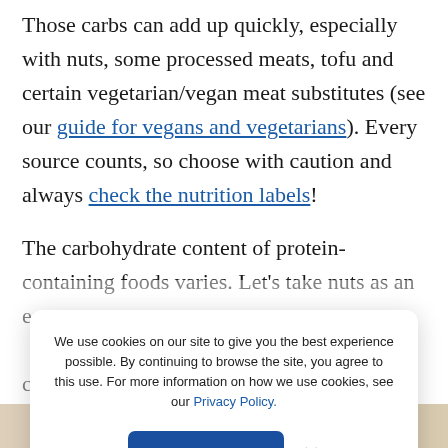Those carbs can add up quickly, especially with nuts, some processed meats, tofu and certain vegetarian/vegan meat substitutes (see our guide for vegans and vegetarians). Every source counts, so choose with caution and always check the nutrition labels!
The carbohydrate content of protein-containing foods varies. Let's take nuts as an e: ca te or co
We use cookies on our site to give you the best experience possible. By continuing to browse the site, you agree to this use. For more information on how we use cookies, see our Privacy Policy.
[Figure (photo): Partial image strip at bottom of page showing food photographs]